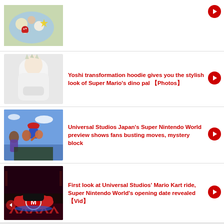[Figure (photo): Food photo showing Mario-themed bento with mushroom characters]
[Figure (photo): Person wearing white Yoshi transformation hoodie with dinosaur spines]
Yoshi transformation hoodie gives you the stylish look of Super Mario's dino pal 【Photos】
[Figure (photo): Universal Studios Japan Super Nintendo World preview with fans and Mario characters]
Universal Studios Japan's Super Nintendo World preview shows fans busting moves, mystery block
[Figure (photo): Mario Kart ride interior at Universal Studios showing kart with M logo]
First look at Universal Studios' Mario Kart ride, Super Nintendo World's opening date revealed【Vid】
powered by newzia connect